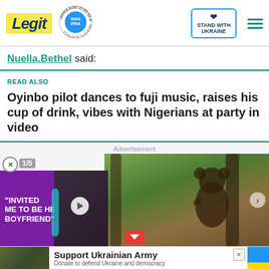Legit — WAN-IFRA Best News Website in Africa 2021 — Stand With Ukraine
Nuella.Bethel said:
READ ALSO
Oyinbo pilot dances to fuji music, raises his cup of drink, vibes with Nigerians at party in video
Advertisement
[Figure (other): Advertisement slideshow: 1/5. Left panel shows purple background with text 'INVITED ME TO BE HER BOYFRIEND' with a couple photo. Right panel shows a bear in a forest. Navigation arrows and down chevron visible.]
[Figure (other): Support Ukrainian Army banner advertisement: soldiers image on left, text 'Support Ukrainian Army — Donate to defend Ukraine and democracy', Ukrainian flag colors on right.]